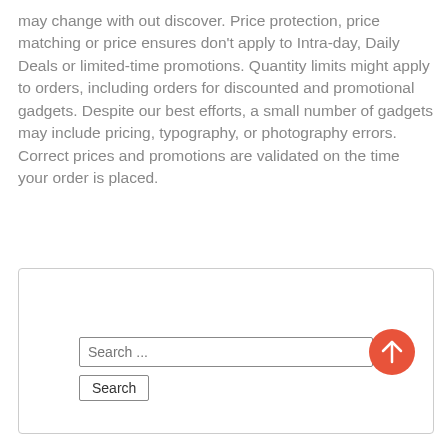may change with out discover. Price protection, price matching or price ensures don't apply to Intra-day, Daily Deals or limited-time promotions. Quantity limits might apply to orders, including orders for discounted and promotional gadgets. Despite our best efforts, a small number of gadgets may include pricing, typography, or photography errors. Correct prices and promotions are validated on the time your order is placed.
[Figure (other): Search widget with a text input field labeled 'Search ...' and a button labeled 'Search', plus an orange circular scroll-to-top button with an upward arrow icon.]